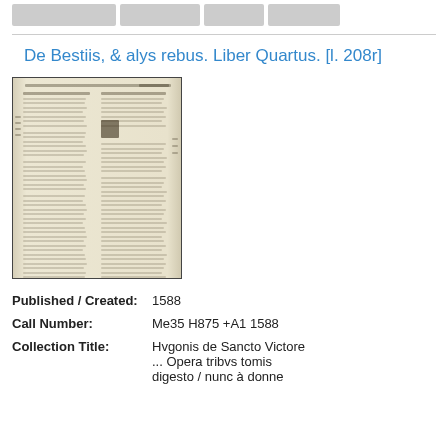De Bestiis, & alys rebus. Liber Quartus. [l. 208r]
[Figure (photo): Scanned manuscript page showing two columns of Latin text with a decorative drop capital, from a 1588 printed book.]
Published / Created: 1588
Call Number: Me35 H875 +A1 1588
Collection Title: Hvgonis de Sancto Victore ... Opera tribvs tomis digesto / nunc à donne